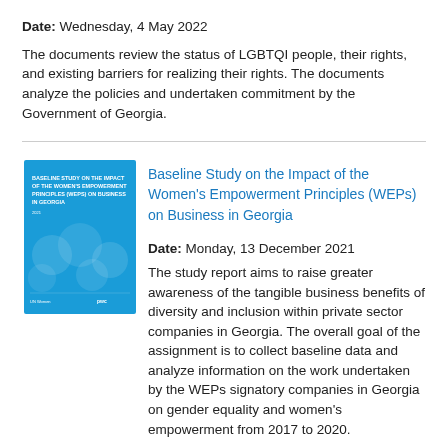Date: Wednesday, 4 May 2022
The documents review the status of LGBTQI people, their rights, and existing barriers for realizing their rights. The documents analyze the policies and undertaken commitment by the Government of Georgia.
[Figure (photo): Book cover of the Baseline Study on the Impact of the Women's Empowerment Principles (WEPs) on Business in Georgia — blue cover with circular icons and white text.]
Baseline Study on the Impact of the Women's Empowerment Principles (WEPs) on Business in Georgia
Date: Monday, 13 December 2021
The study report aims to raise greater awareness of the tangible business benefits of diversity and inclusion within private sector companies in Georgia. The overall goal of the assignment is to collect baseline data and analyze information on the work undertaken by the WEPs signatory companies in Georgia on gender equality and women's empowerment from 2017 to 2020.